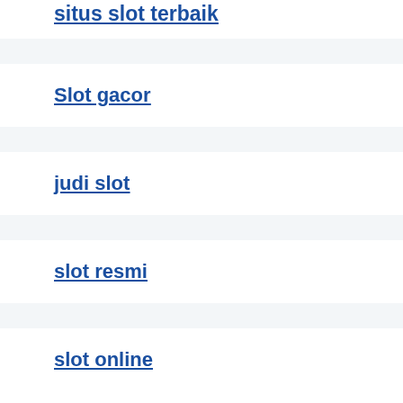situs slot terbaik
Slot gacor
judi slot
slot resmi
slot online